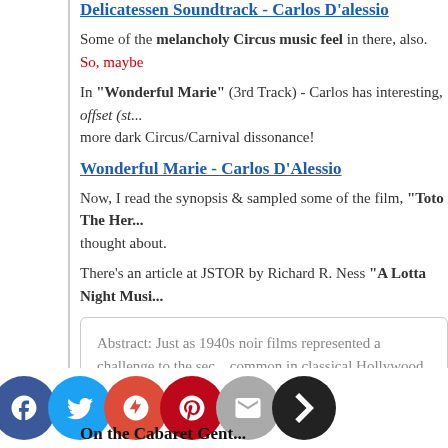Delicatessen Soundtrack - Carlos D'alessio
Some of the melancholy Circus music feel in there, also. So, maybe
In "Wonderful Marie" (3rd Track) - Carlos has interesting, offset (st... more dark Circus/Carnival dissonance!
Wonderful Marie - Carlos D'Alessio
Now, I read the synopsis & sampled some of the film, "Toto The Her... thought about.
There's an article at JSTOR by Richard R. Ness "A Lotta Night Musi...
Abstract: Just as 1940s noir films represented a challenge to the sec... common in classical Hollywood scoring practices. Scores for the n... techniques and the return of more melodic elements.
To me, Film Noir music can be Dark, have some Jazz el...
At ALLMUSIC - they have a list for some classic Film Noir music an...
Film Noir: 16 Classic Tracks from the Dark Side of the Movies
One of... ir pie... d is fro... e Ele... Man" -
On the Cabaret Gent...